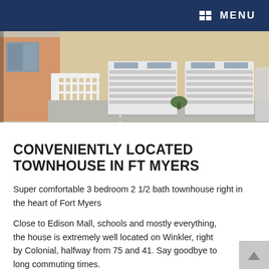MENU
[Figure (photo): Exterior photo of a townhouse with white fence gate on the left and two white garage doors visible, driveway in front, beige/tan stucco walls.]
CONVENIENTLY LOCATED TOWNHOUSE IN FT MYERS
Super comfortable 3 bedroom 2 1/2 bath townhouse right in the heart of Fort Myers
Close to Edison Mall, schools and mostly everything, the house is extremely well located on Winkler, right by Colonial, halfway from 75 and 41. Say goodbye to long commuting times.